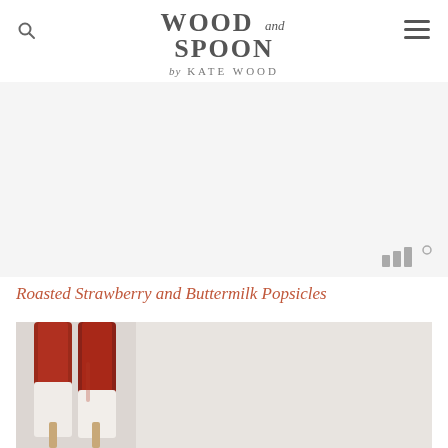WOOD and SPOON by KATE WOOD
[Figure (screenshot): Advertisement or empty content area with a small widget/measurement icon in the bottom right corner showing three vertical bars and a degree symbol]
Roasted Strawberry and Buttermilk Popsicles
[Figure (photo): Photo of roasted strawberry and buttermilk popsicles with red/dark strawberry tops and white creamy bottoms, with wooden popsicle sticks, arranged on a light background]